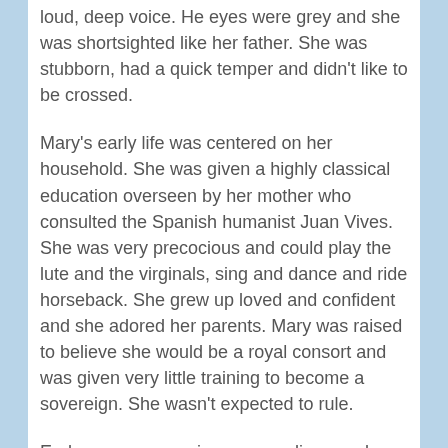loud, deep voice. He eyes were grey and she was shortsighted like her father. She was stubborn, had a quick temper and didn't like to be crossed.
Mary's early life was centered on her household. She was given a highly classical education overseen by her mother who consulted the Spanish humanist Juan Vives. She was very precocious and could play the lute and the virginals, sing and dance and ride horseback. She grew up loved and confident and she adored her parents. Mary was raised to believe she would be a royal consort and was given very little training to become a sovereign. She wasn't expected to rule.
Early on many marriages were discussed as Mary became a bargaining chip in the dynastic games played by her father with the royal families of Valois